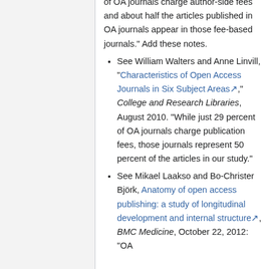of OA journals charge author-side fees and about half the articles published in OA journals appear in those fee-based journals." Add these notes.
See William Walters and Anne Linvill, "Characteristics of Open Access Journals in Six Subject Areas," College and Research Libraries, August 2010. "While just 29 percent of OA journals charge publication fees, those journals represent 50 percent of the articles in our study."
See Mikael Laakso and Bo-Christer Björk, Anatomy of open access publishing: a study of longitudinal development and internal structure, BMC Medicine, October 22, 2012: "OA